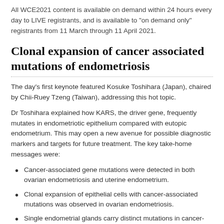All WCE2021 content is available on demand within 24 hours every day to LIVE registrants, and is available to "on demand only" registrants from 11 March through 11 April 2021.
Clonal expansion of cancer associated mutations of endometriosis
The day's first keynote featured Kosuke Toshihara (Japan), chaired by Chii-Ruey Tzeng (Taiwan), addressing this hot topic.
Dr Toshihara explained how KARS, the driver gene, frequently mutates in endometriotic epithelium compared with eutopic endometrium. This may open a new avenue for possible diagnostic markers and targets for future treatment. The key take-home messages were:
Cancer-associated gene mutations were detected in both ovarian endometriosis and uterine endometrium.
Clonal expansion of epithelial cells with cancer-associated mutations was observed in ovarian endometriosis.
Single endometrial glands carry distinct mutations in cancer-